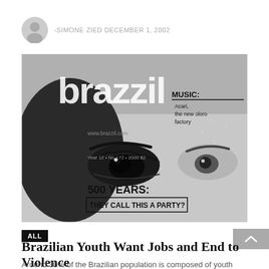-SIMONE ZIED DECEMBER 1, 2002
[Figure (photo): Black and white magazine cover of 'brazzil' magazine. Features a close-up of a person's eyes. Text on cover reads: 'MUSIC: Acari, the new oloro factory' and '500 YEARS: THEY CALL THIS A PARTY?' and 'www.brazzil.com' and 'Year 12 • No 172 • 2000 $2']
ALL
Brazilian Youth Want Jobs and End to Violence
Around 30% of the Brazilian population is composed of youth